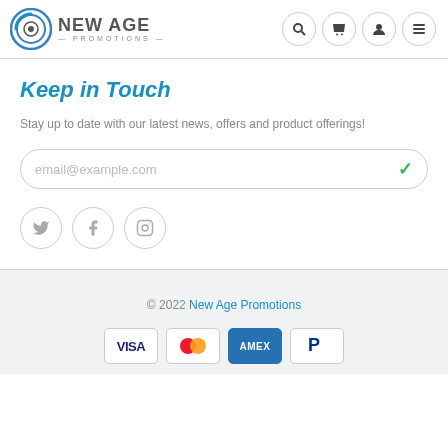[Figure (logo): New Age Promotions logo with circular icon and text]
Keep in Touch
Stay up to date with our latest news, offers and product offerings!
[Figure (other): Email input field with placeholder 'email@example.com' and green checkmark]
[Figure (other): Social media icons: Twitter, Facebook, Instagram in circular borders]
© 2022 New Age Promotions
[Figure (other): Payment icons: VISA, Mastercard, AMEX, PayPal]